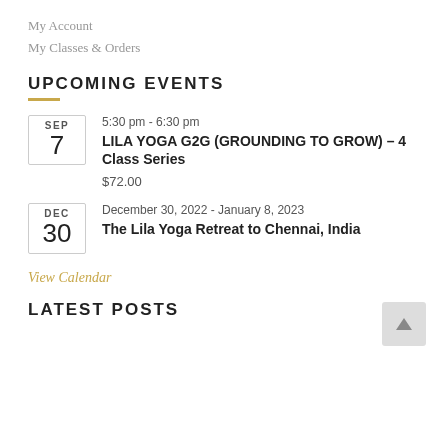My Account
My Classes & Orders
UPCOMING EVENTS
SEP 7 | 5:30 pm - 6:30 pm | LILA YOGA G2G (GROUNDING TO GROW) – 4 Class Series | $72.00
DEC 30 | December 30, 2022 - January 8, 2023 | The Lila Yoga Retreat to Chennai, India
View Calendar
LATEST POSTS